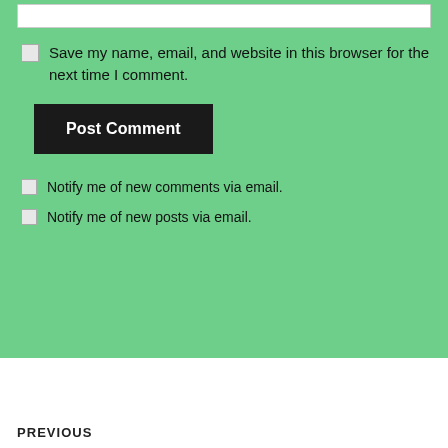[Figure (screenshot): White input bar at top of green section]
Save my name, email, and website in this browser for the next time I comment.
Post Comment
Notify me of new comments via email.
Notify me of new posts via email.
PREVIOUS